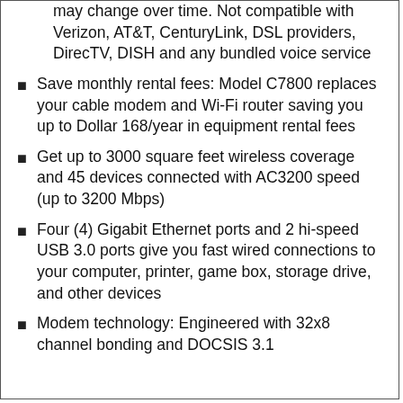may change over time. Not compatible with Verizon, AT&T, CenturyLink, DSL providers, DirecTV, DISH and any bundled voice service
Save monthly rental fees: Model C7800 replaces your cable modem and Wi-Fi router saving you up to Dollar 168/year in equipment rental fees
Get up to 3000 square feet wireless coverage and 45 devices connected with AC3200 speed (up to 3200 Mbps)
Four (4) Gigabit Ethernet ports and 2 hi-speed USB 3.0 ports give you fast wired connections to your computer, printer, game box, storage drive, and other devices
Modem technology: Engineered with 32x8 channel bonding and DOCSIS 3.1